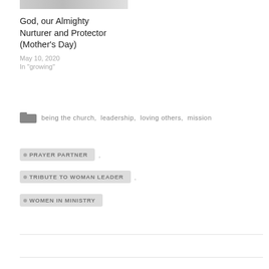[Figure (photo): Thumbnail image strip at top of card]
God, our Almighty Nurturer and Protector (Mother's Day)
May 10, 2020
In "growing"
being the church, leadership, loving others, mission
PRAYER PARTNER
TRIBUTE TO WOMAN LEADER
WOMEN IN MINISTRY